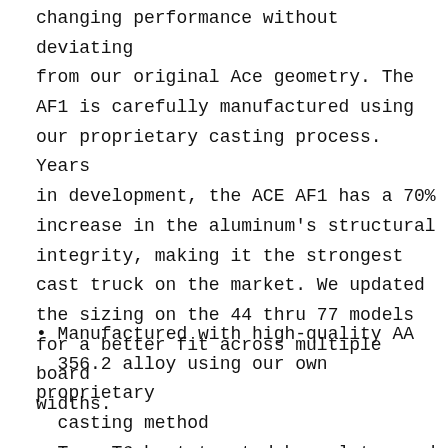changing performance without deviating from our original Ace geometry. The AF1 is carefully manufactured using our proprietary casting process. Years in development, the ACE AF1 has a 70% increase in the aluminum's structural integrity, making it the strongest cast truck on the market. We updated the sizing on the 44 thru 77 models for a better fit across multiple board widths.
Manufactured with high-quality AA 356.2 alloy using our own proprietary casting method
True T6 heat-treated baseplates and